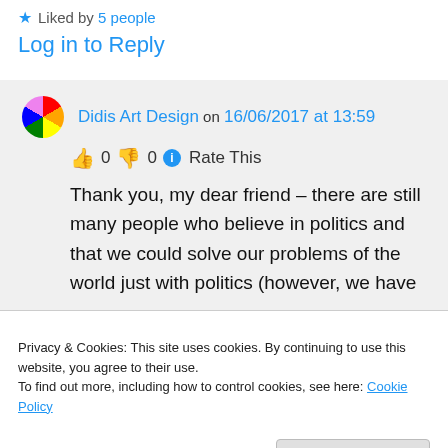★ Liked by 5 people
Log in to Reply
Didis Art Design on 16/06/2017 at 13:59
👍 0 👎 0 ℹ Rate This
Thank you, my dear friend – there are still many people who believe in politics and that we could solve our problems of the world just with politics (however, we have
Privacy & Cookies: This site uses cookies. By continuing to use this website, you agree to their use.
To find out more, including how to control cookies, see here: Cookie Policy
Close and accept
ourselves and become a real human being